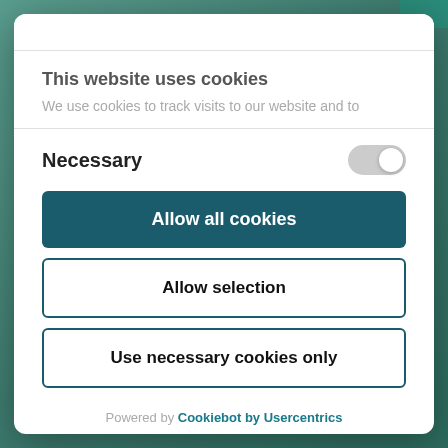This website uses cookies
We use cookies to track visits to our website and to
Necessary
Allow all cookies
Allow selection
Use necessary cookies only
Powered by Cookiebot by Usercentrics